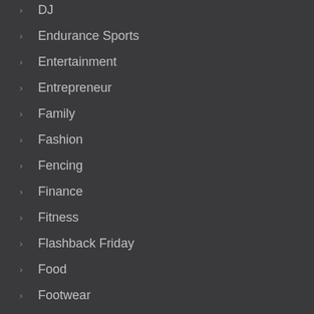DJ
Endurance Sports
Entertainment
Entrepreneur
Family
Fashion
Fencing
Finance
Fitness
Flashback Friday
Food
Footwear